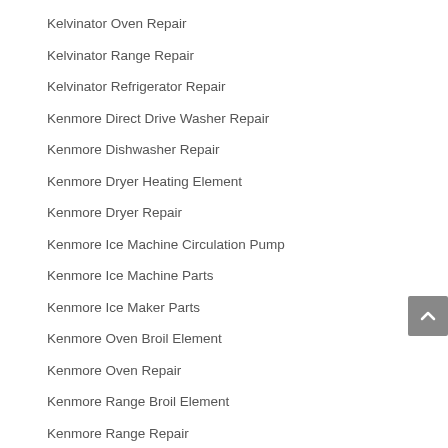Kelvinator Oven Repair
Kelvinator Range Repair
Kelvinator Refrigerator Repair
Kenmore Direct Drive Washer Repair
Kenmore Dishwasher Repair
Kenmore Dryer Heating Element
Kenmore Dryer Repair
Kenmore Ice Machine Circulation Pump
Kenmore Ice Machine Parts
Kenmore Ice Maker Parts
Kenmore Oven Broil Element
Kenmore Oven Repair
Kenmore Range Broil Element
Kenmore Range Repair
Kenmore Refrigerator Repair